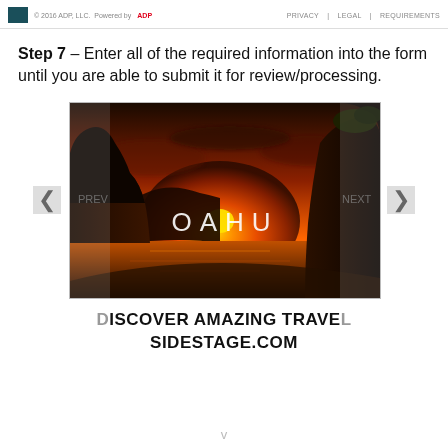© 2016 ADP, LLC. Powered by ADP  |  PRIVACY  |  LEGAL  |  REQUIREMENTS
Step 7 – Enter all of the required information into the form until you are able to submit it for review/processing.
[Figure (screenshot): A slideshow/carousel showing a sunset coastal photo with the text OAHU overlaid in the center. Navigation arrows on the left and right. Below the image: DISCOVER AMAZING TRAVEL SIDESTAGE.COM]
v